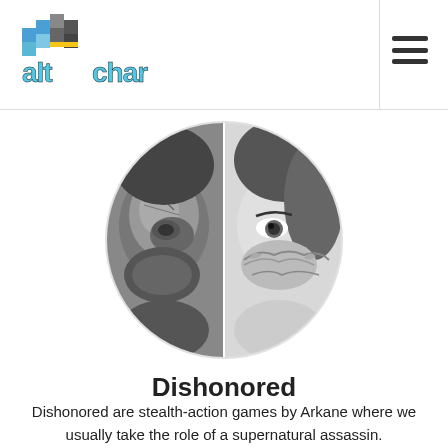alt/char
[Figure (photo): Circular black-and-white image showing two masked faces split down the middle — left half shows a mechanical/stone masked figure (Corvo from Dishonored), right half shows a woman with an ornate mask (Emily from Dishonored 2)]
Dishonored
Dishonored are stealth-action games by Arkane where we usually take the role of a supernatural assassin.